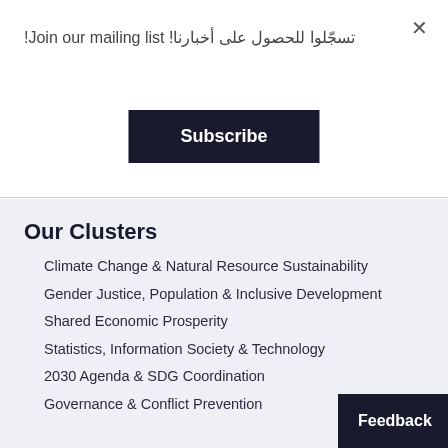تسجّلوا للحصول على أخبارنا! Join our mailing list!
Subscribe
Our Clusters
Climate Change & Natural Resource Sustainability
Gender Justice, Population & Inclusive Development
Shared Economic Prosperity
Statistics, Information Society & Technology
2030 Agenda & SDG Coordination
Governance & Conflict Prevention
Feedback